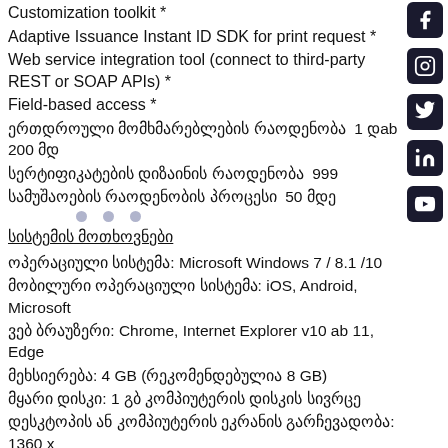Customization toolkit *
Adaptive Issuance Instant ID SDK for print request *
Web service integration tool (connect to third-party REST or SOAP APIs) *
Field-based access *
ერთდროული მომხმარებლების რაოდენობა  1 დab 200 მდ
სერტიფიკატების დიზაინის რაოდენობა  999
სამუშაოების რაოდენობის პროცესი  50 მდე
სისტემის მოთხოვნები
ოპერაციული სისტემა: Microsoft Windows 7 / 8.1 /10
მობილური ოპერაციული სისტემა: iOS, Android, Microsoft
ვებ ბრაუზერი: Chrome, Internet Explorer v10 ab 11, Edge
მეხსიერება: 4 GB (რეკომენდებულია 8 GB)
მყარი დისკი: 1 გბ კომპიუტერის დისკის სივრცე
დესკტოპის ან კომპიუტერის ეკრანის გარჩევადობა: 1360 x